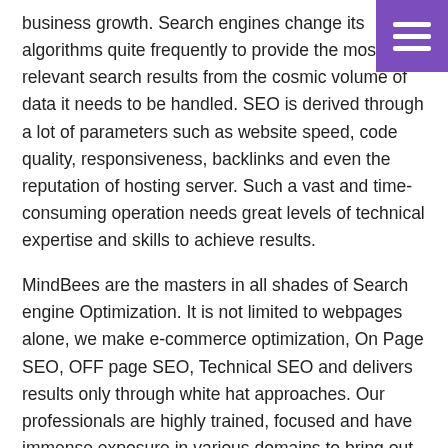business growth. Search engines change its algorithms quite frequently to provide the most relevant search results from the cosmic volume of data it needs to be handled. SEO is derived through a lot of parameters such as website speed, code quality, responsiveness, backlinks and even the reputation of hosting server. Such a vast and time-consuming operation needs great levels of technical expertise and skills to achieve results.
MindBees are the masters in all shades of Search engine Optimization. It is not limited to webpages alone, we make e-commerce optimization, On Page SEO, OFF page SEO, Technical SEO and delivers results only through white hat approaches. Our professionals are highly trained, focused and have immense exposure in various domains to bring out results in the most authentic and measurable way.